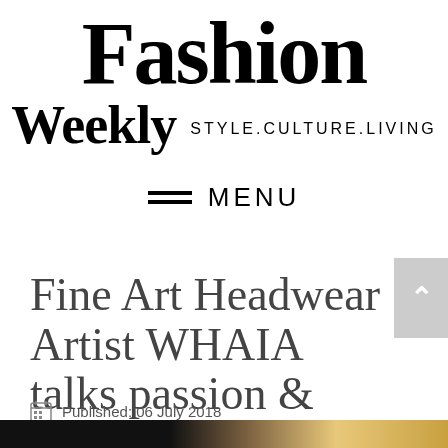Fashion Weekly STYLE.CULTURE.LIVING
≡ MENU
Fine Art Headwear Artist WHAIA talks passion & NEST
Published: 06 July 2018
[Figure (photo): Dark photographic image showing a person, partially visible at bottom of page]